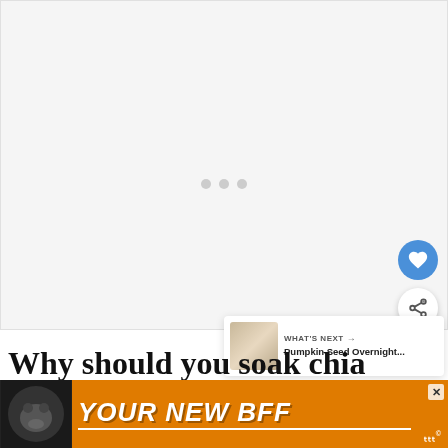[Figure (other): Large light gray image placeholder area with three loading dots in the center]
[Figure (other): Blue circular like/heart button on right side]
[Figure (other): White circular share button on right side]
[Figure (other): What's Next panel showing thumbnail and text 'Pumpkin Seed Overnight...']
Why should you soak chia
[Figure (other): Orange advertisement banner with dog image and text YOUR NEW BFF, close button X, and logo]
s